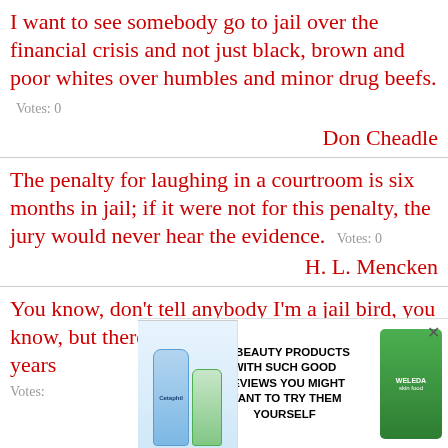I want to see somebody go to jail over the financial crisis and not just black, brown and poor whites over humbles and minor drug beefs.  Votes: 0
Don Cheadle
The penalty for laughing in a courtroom is six months in jail; if it were not for this penalty, the jury would never hear the evidence.  Votes: 0
H. L. Mencken
You know, don't tell anybody I'm a jail bird, you know, but there were a bunch of us that were years  nt.
Votes:
[Figure (infographic): Advertisement overlay: two Cetaphil product images on left, badge showing '22 WORDS', ad text '37 BEAUTY PRODUCTS WITH SUCH GOOD REVIEWS YOU MIGHT WANT TO TRY THEM YOURSELF', Weleda green tube product on right, close X button]
d Akin